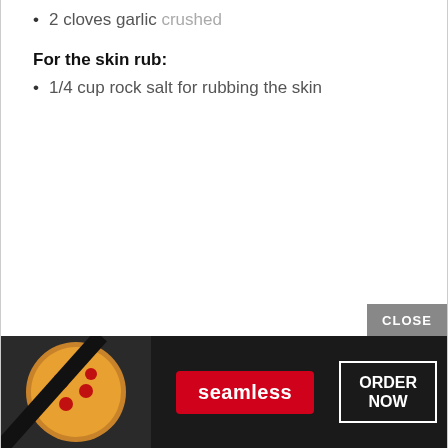2 cloves garlic crushed
For the skin rub:
1/4 cup rock salt for rubbing the skin
Instructions
How
[Figure (other): Seamless food delivery advertisement banner with pizza image, Seamless logo in red, and ORDER NOW button. Includes a CLOSE button.]